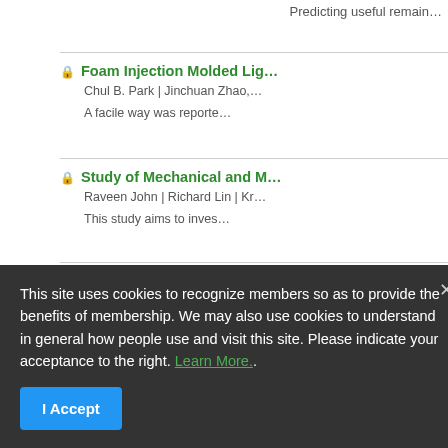Predicting useful remain…
Foam Injection Molded Lig… | Chul B. Park | Jinchuan Zhao, … | A facile way was reporte…
Study of Mechanical and M… | Raveen John | Richard Lin | Kr… | This study aims to inves…
New Concept for Melting in…
This site uses cookies to recognize members so as to provide the benefits of membership. We may also use cookies to understand in general how people use and visit this site. Please indicate your acceptance to the right. Learn More..